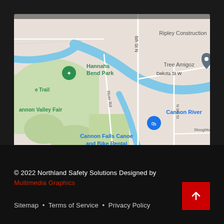[Figure (map): Google Maps screenshot showing Cannon Falls, MN area with labels: Hannahs Bend Park, e Trail, annon Valley Fair, Cannon Falls Canoe and Bike Rental, Ripley Construction, Tree Amigoz, Cannon River, 5th St N, Dakota St W, River Rd, N 3rd St, Stoughton St]
© 2022 Northland Safety Solutions Designed by Multimedia Graphics
Sitemap • Terms of Service • Privacy Policy